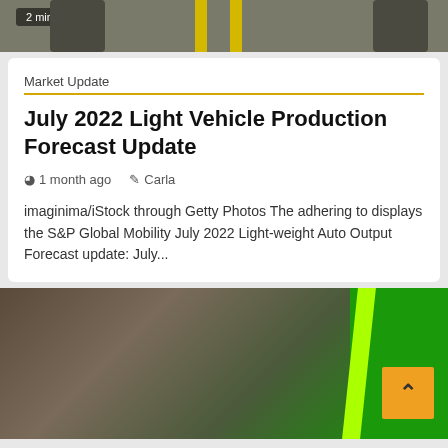[Figure (photo): Top partial image showing industrial robots or machinery on a factory floor with yellow guide bars, with a '2 min read' badge overlay]
Market Update
July 2022 Light Vehicle Production Forecast Update
1 month ago  Carla
imaginima/iStock through Getty Photos The adhering to displays the S&P Global Mobility July 2022 Light-weight Auto Output Forecast update: July...
[Figure (photo): Bottom partial image showing a blurred factory/industrial floor scene with a bright yellow-green diagonal stripe and green background on the right, with an orange scroll-to-top button]